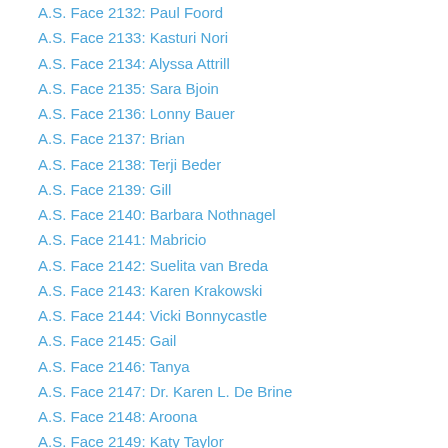A.S. Face 2132: Paul Foord
A.S. Face 2133: Kasturi Nori
A.S. Face 2134: Alyssa Attrill
A.S. Face 2135: Sara Bjoin
A.S. Face 2136: Lonny Bauer
A.S. Face 2137: Brian
A.S. Face 2138: Terji Beder
A.S. Face 2139: Gill
A.S. Face 2140: Barbara Nothnagel
A.S. Face 2141: Mabricio
A.S. Face 2142: Suelita van Breda
A.S. Face 2143: Karen Krakowski
A.S. Face 2144: Vicki Bonnycastle
A.S. Face 2145: Gail
A.S. Face 2146: Tanya
A.S. Face 2147: Dr. Karen L. De Brine
A.S. Face 2148: Aroona
A.S. Face 2149: Katy Taylor
A.S. Face 2150: Alicia
A.S. Face 2151: Tori Stuckey